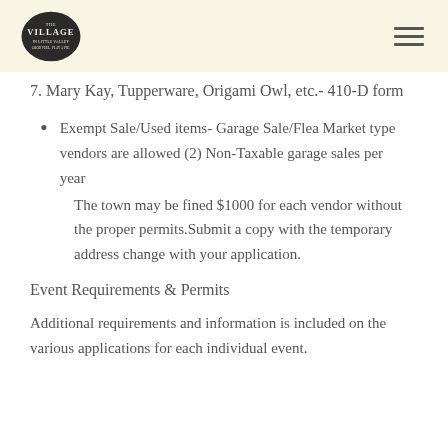The Village [logo]
7. Mary Kay, Tupperware, Origami Owl, etc.- 410-D form
Exempt Sale/Used items- Garage Sale/Flea Market type vendors are allowed (2) Non-Taxable garage sales per year
The town may be fined $1000 for each vendor without the proper permits.Submit a copy with the temporary address change with your application.
Event Requirements & Permits
Additional requirements and information is included on the various applications for each individual event.